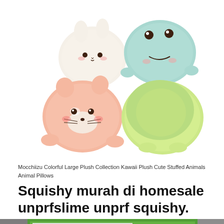[Figure (photo): Four kawaii plush stuffed animals grouped together on white background: a cream/white bunny-like plush on top left, a light blue frog plush on top right, a pink fox/cat plush in front left, and a yellow-green duck/chick plush in front right.]
Mocchiizu Colorful Large Plush Collection Kawaii Plush Cute Stuffed Animals Animal Pillows
Squishy murah di homesale unprfslime unprf squishy.
[Figure (photo): Partial view of what appears to be a green and white packaged product, cropped at the bottom of the page.]